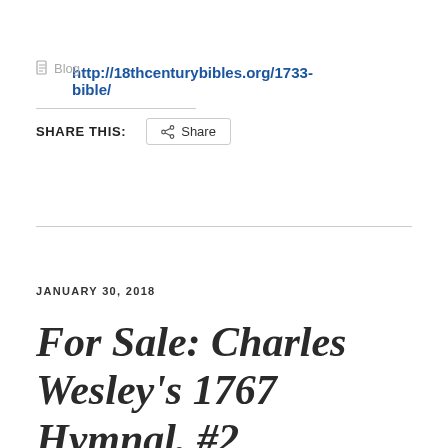http://18thcenturybibles.org/1733-bible/
Blog
SHARE THIS:
Share
JANUARY 30, 2018
For Sale: Charles Wesley's 1767 Hymnal, #2